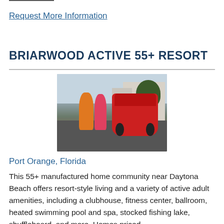Request More Information
BRIARWOOD ACTIVE 55+ RESORT
[Figure (photo): Outdoor scene showing two people walking on a driveway with a red golf cart carrying passengers in front of residential homes]
Port Orange, Florida
This 55+ manufactured home community near Daytona Beach offers resort-style living and a variety of active adult amenities, including a clubhouse, fitness center, ballroom, heated swimming pool and spa, stocked fishing lake, shuffleboard, and more. Homes priced